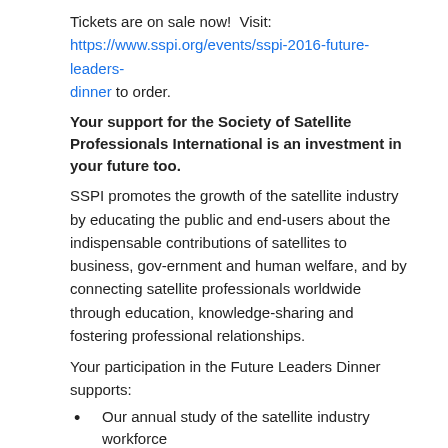Tickets are on sale now!  Visit: https://www.sspi.org/events/sspi-2016-future-leaders-dinner to order.
Your support for the Society of Satellite Professionals International is an investment in your future too.
SSPI promotes the growth of the satellite industry by educating the public and end-users about the indispensable contributions of satellites to business, gov-ernment and human welfare, and by connecting satellite professionals worldwide through education, knowledge-sharing and fostering professional relationships.
Your participation in the Future Leaders Dinner supports:
Our annual study of the satellite industry workforce
Talent attraction programs for the next generation in partnership with leading student organizations
SSPI's global network of chap¬ters, where satellite professionals build rela-tionships